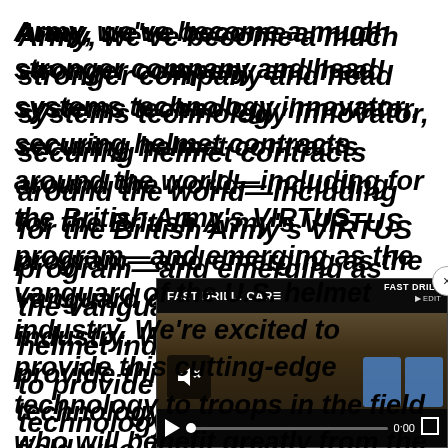Army, we've become a much stronger company and head systems technology innovator, securing helmet contracts around the world—including for the British Army's VIRTUS program—and emerging as the vanguard of the U.S. helmet industry. We're excited to provide this cutting-edge technology to troops in the field who will benefit greatly from the improved performance and significantly lower weight of this ne[w] system. In short, Revi[con has] modernized the traditi[onal] bringing this crucial e[quipment]
[Figure (screenshot): Embedded video player overlay showing a 'FAST DRILL: CAR...' video with mute icon, blue targets in background, progress bar at 0:00, play button, and a close (x) button in the top-right corner.]